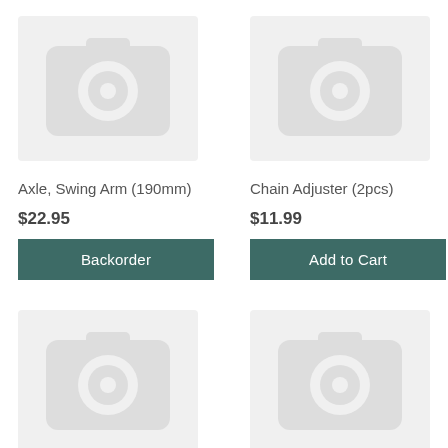[Figure (photo): Placeholder camera icon image for Axle, Swing Arm (190mm)]
Axle, Swing Arm (190mm)
$22.95
Backorder
[Figure (photo): Placeholder camera icon image for Chain Adjuster (2pcs)]
Chain Adjuster (2pcs)
$11.99
Add to Cart
[Figure (photo): Placeholder camera icon image (bottom left, partially visible)]
[Figure (photo): Placeholder camera icon image (bottom right, partially visible)]